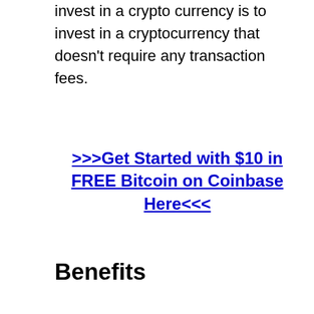invest in a crypto currency is to invest in a cryptocurrency that doesn't require any transaction fees.
>>>Get Started with $10 in FREE Bitcoin on Coinbase Here<<<
Benefits
There are many benefits to using Coinbase. The interface is easy to use and the platform offers a variety of currencies to choose from. Beginners tend to use Coinbase as it offers a few simple...